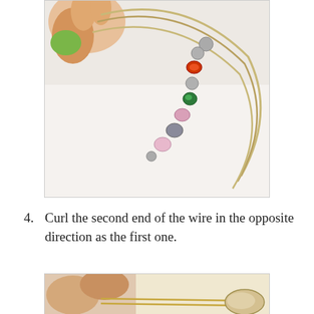[Figure (photo): Close-up photo of a beaded wire bracelet being held by a hand. The wire is curved in a hoop shape with colorful beads — silver, red/orange crystal, green crystal, pink, and gray/white beads arranged along the bottom arc. Background is white/light gray.]
4.  Curl the second end of the wire in the opposite direction as the first one.
[Figure (photo): Close-up photo of fingers holding a wire against a light yellow background, with what appears to be a round tool or mandrel visible on the right side.]